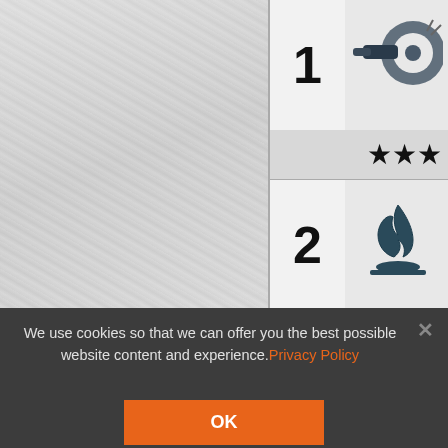[Figure (screenshot): Partial view of a product comparison table with leather-textured background on the left. The table shows row 1 with number '1' and a grinding/cutting tool icon, followed by a star rating row (3 stars), then row 2 with number '2' and a flame icon, followed by another star rating row (3 stars). A cookie consent banner overlays the bottom portion with text 'We use cookies so that we can offer you the best possible website content and experience.' with a Privacy Policy link, a close X button, and an OK button.]
We use cookies so that we can offer you the best possible website content and experience. Privacy Policy